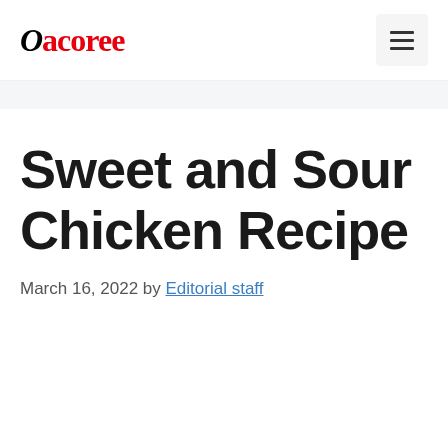Oacoree
Sweet and Sour Chicken Recipe
March 16, 2022 by Editorial staff